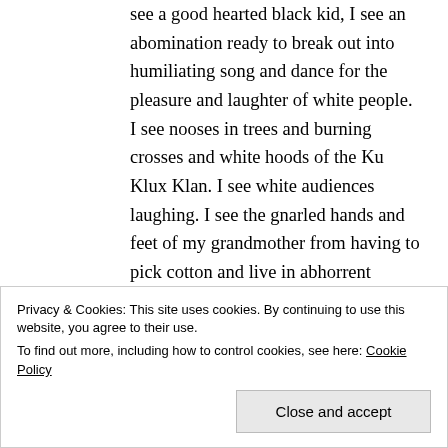see a good hearted black kid, I see an abomination ready to break out into humiliating song and dance for the pleasure and laughter of white people. I see nooses in trees and burning crosses and white hoods of the Ku Klux Klan. I see white audiences laughing. I see the gnarled hands and feet of my grandmother from having to pick cotton and live in abhorrent conditions of abject poverty because of a broken society. I see white laughter. When I see Zwarte Piete, as portrayed by
Privacy & Cookies: This site uses cookies. By continuing to use this website, you agree to their use.
To find out more, including how to control cookies, see here: Cookie Policy
Close and accept